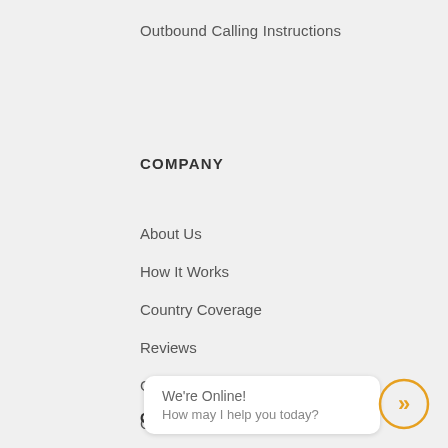Outbound Calling Instructions
COMPANY
About Us
How It Works
Country Coverage
Reviews
Customer Stories
Careers
Knowledge Base
Blog
Contact Us
CONNECT
[Figure (other): Chat widget showing 'We're Online! How may I help you today?' with a double-arrow circle icon in orange]